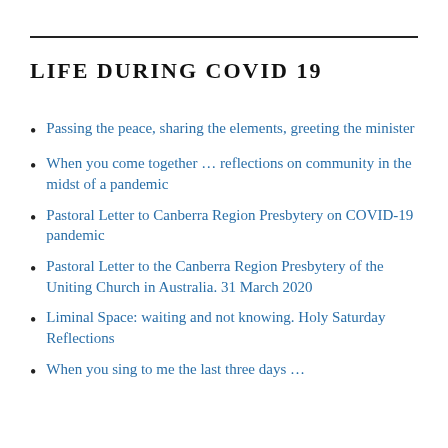LIFE DURING COVID 19
Passing the peace, sharing the elements, greeting the minister
When you come together … reflections on community in the midst of a pandemic
Pastoral Letter to Canberra Region Presbytery on COVID-19 pandemic
Pastoral Letter to the Canberra Region Presbytery of the Uniting Church in Australia. 31 March 2020
Liminal Space: waiting and not knowing. Holy Saturday Reflections
(partially visible item)